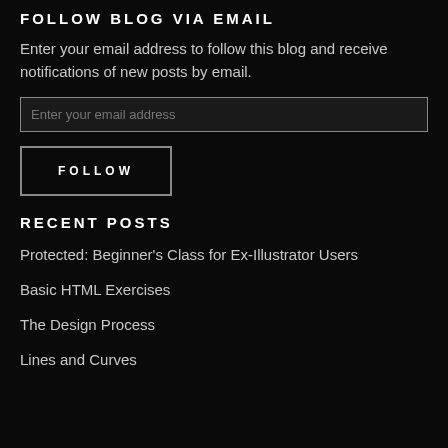FOLLOW BLOG VIA EMAIL
Enter your email address to follow this blog and receive notifications of new posts by email.
Enter your email address
FOLLOW
RECENT POSTS
Protected: Beginner's Class for Ex-Illustrator Users
Basic HTML Exercises
The Design Process
Lines and Curves